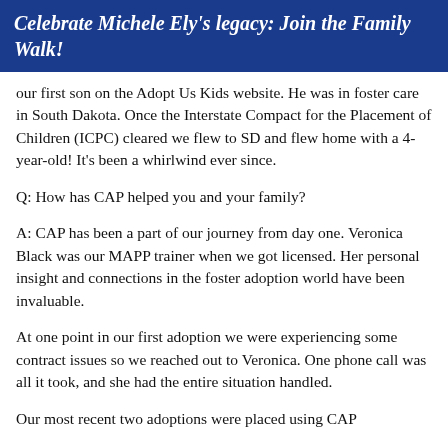Celebrate Michele Ely's legacy: Join the Family Walk!
our first son on the Adopt Us Kids website. He was in foster care in South Dakota. Once the Interstate Compact for the Placement of Children (ICPC) cleared we flew to SD and flew home with a 4-year-old! It's been a whirlwind ever since.
Q: How has CAP helped you and your family?
A: CAP has been a part of our journey from day one. Veronica Black was our MAPP trainer when we got licensed. Her personal insight and connections in the foster adoption world have been invaluable.
At one point in our first adoption we were experiencing some contract issues so we reached out to Veronica. One phone call was all it took, and she had the entire situation handled.
Our most recent two adoptions were placed using CAP